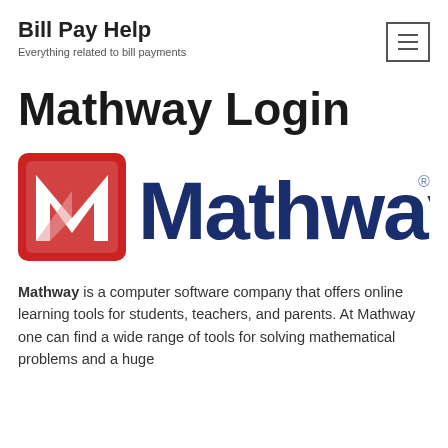Bill Pay Help
Everything related to bill payments
Mathway Login
[Figure (logo): Mathway logo: red square with white M icon on left, followed by 'Mathway' text in dark navy blue with registered trademark symbol]
Mathway is a computer software company that offers online learning tools for students, teachers, and parents. At Mathway one can find a wide range of tools for solving mathematical problems and a huge